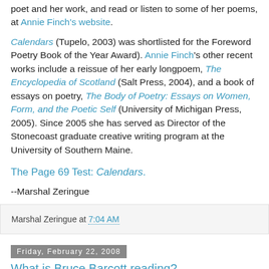poet and her work, and read or listen to some of her poems, at Annie Finch's website.
Calendars (Tupelo, 2003) was shortlisted for the Foreword Poetry Book of the Year Award). Annie Finch's other recent works include a reissue of her early longpoem, The Encyclopedia of Scotland (Salt Press, 2004), and a book of essays on poetry, The Body of Poetry: Essays on Women, Form, and the Poetic Self (University of Michigan Press, 2005). Since 2005 she has served as Director of the Stonecoast graduate creative writing program at the University of Southern Maine.
The Page 69 Test: Calendars.
--Marshal Zeringue
Marshal Zeringue at 7:04 AM
Friday, February 22, 2008
What is Bruce Barcott reading?